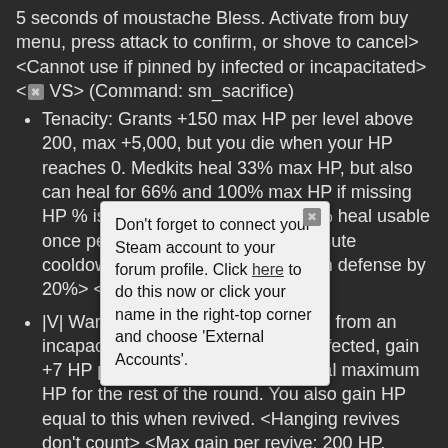5 seconds of moustache Bless. Activate from buy menu, press attack to confirm, or shove to cancel> <Cannot use if pinned by infected or incapacitated> <✖ VS> (Command: sm_sacrifice)
Tenacity: Grants +150 max HP per level above 200, max +5,000, but you die when your HP reaches 0. Medkits heal 33% max HP, but also can heal for 66% and 100% max HP if missing HP % is greater than the heal. 100% heal usable once per round. 66% heal has 7 minute cooldown. <Reduces your maximum defense by 20%> <✖ VS>
|V| War Wounds: After being revived from an incapacitation only caused by the infected, gain +7 HP per level above 201 additional maximum HP for the rest of the round. You also gain HP equal to this when revived. <Hanging revives don't count> <Max gain per revive: 200 HP, Overall: 2,000HP> <✖ VS>
Unstoppable: Gives you the ability to block Special Infected attacks and some explosions. The chance increases +10% per level, but Minus -10% chance for each SI nearby above 3. Minus -20% chance for each Uber SI. <Does not work if incapacitated or rushing> <Doesn't block status effects, tank punches, or boomer slaps> <✖ VS>
Don't forget to connect your Steam account to your forum profile. Click here to do this now or click your name in the right-top corner and choose 'External Accounts'.